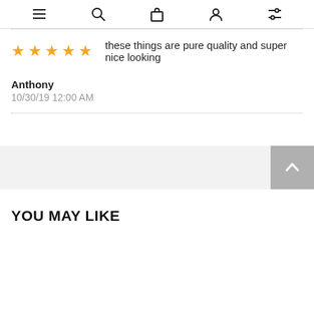Navigation icons: menu, search, bag, account, filter
these things are pure quality and super nice looking
Anthony
10/30/19 12:00 AM
[Figure (screenshot): Back to top button with upward chevron on a light gray background bar]
YOU MAY LIKE